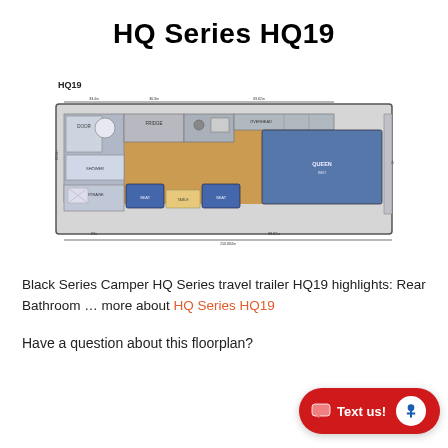HQ Series HQ19
[Figure (schematic): Floor plan diagram of the HQ Series HQ19 travel trailer showing rear bathroom, kitchen area, seating, and queen bed layout with dimensions labeled]
Black Series Camper HQ Series travel trailer HQ19 highlights: Rear Bathroom … more about HQ Series HQ19
Have a question about this floorplan?